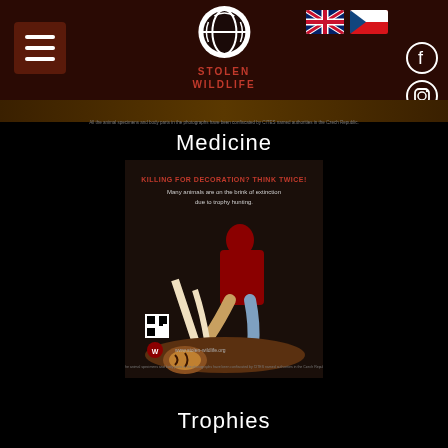Stolen Wildlife website header with menu, logo, flags and social icons
Medicine
[Figure (photo): Campaign poster with man in red sweater sitting on animal trophy skins and tusks, text reading 'KILLING FOR DECORATION? THINK TWICE! Many animals are on the brink of extinction due to trophy hunting.']
Trophies